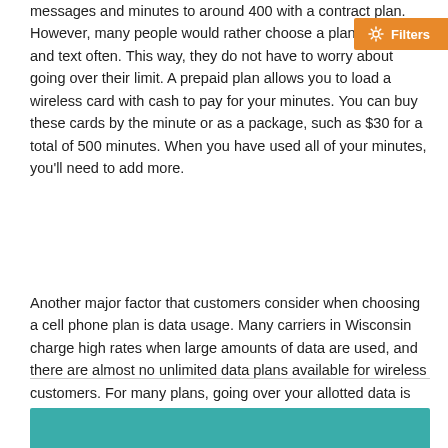messages and minutes to around 400 with a contract plan. However, many people would rather choose a plan if they talk and text often. This way, they do not have to worry about going over their limit. A prepaid plan allows you to load a wireless card with cash to pay for your minutes. You can buy these cards by the minute or as a package, such as $30 for a total of 500 minutes. When you have used all of your minutes, you'll need to add more.
Another major factor that customers consider when choosing a cell phone plan is data usage. Many carriers in Wisconsin charge high rates when large amounts of data are used, and there are almost no unlimited data plans available for wireless customers. For many plans, going over your allotted data is cause for expensive overage charges. To make sure that this doesn't happen to you, it is important that you pick a plan that offers high data coverage every month.
[Figure (other): Teal/turquoise colored banner or header bar at the bottom of the page]